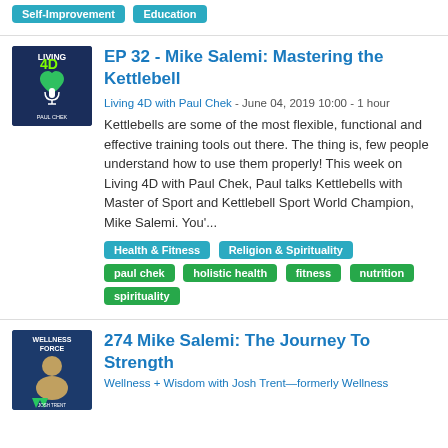Self-Improvement, Education (tags)
[Figure (logo): Living 4D with Paul Chek podcast logo - dark blue background with green heart and microphone icon]
EP 32 - Mike Salemi: Mastering the Kettlebell
Living 4D with Paul Chek - June 04, 2019 10:00 - 1 hour
Kettlebells are some of the most flexible, functional and effective training tools out there. The thing is, few people understand how to use them properly! This week on Living 4D with Paul Chek, Paul talks Kettlebells with Master of Sport and Kettlebell Sport World Champion, Mike Salemi. You'...
Health & Fitness, Religion & Spirituality, paul chek, holistic health, fitness, nutrition, spirituality (tags)
[Figure (photo): Wellness Force podcast logo with a man's photo on blue background]
274 Mike Salemi: The Journey To Strength
Wellness + Wisdom with Josh Trent—formerly Wellness